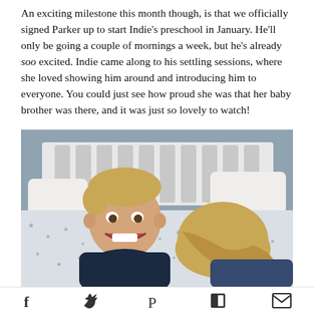An exciting milestone this month though, is that we officially signed Parker up to start Indie's preschool in January. He'll only be going a couple of mornings a week, but he's already soo excited. Indie came along to his settling sessions, where she loved showing him around and introducing him to everyone. You could just see how proud she was that her baby brother was there, and it was just so lovely to watch!
[Figure (photo): Two young children on a white bed with star-patterned bedding. A smiling blonde toddler boy in a dark dinosaur-print top faces the camera, while an older girl with long blonde hair lies face-down beside him. A white wooden bed headboard is visible in the background.]
Social sharing icons: Facebook, Twitter, Pinterest, Flipboard, Email